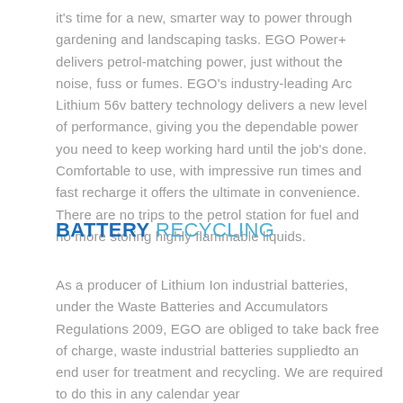it's time for a new, smarter way to power through gardening and landscaping tasks. EGO Power+ delivers petrol-matching power, just without the noise, fuss or fumes. EGO's industry-leading Arc Lithium 56v battery technology delivers a new level of performance, giving you the dependable power you need to keep working hard until the job's done. Comfortable to use, with impressive run times and fast recharge it offers the ultimate in convenience. There are no trips to the petrol station for fuel and no more storing highly flammable liquids.
BATTERY RECYCLING
As a producer of Lithium Ion industrial batteries, under the Waste Batteries and Accumulators Regulations 2009, EGO are obliged to take back free of charge, waste industrial batteries suppliedto an end user for treatment and recycling. We are required to do this in any calendar year